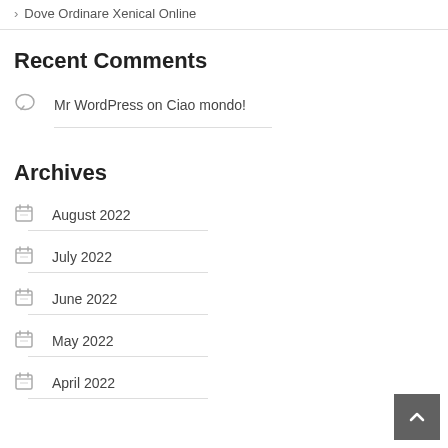Dove Ordinare Xenical Online
Recent Comments
Mr WordPress on Ciao mondo!
Archives
August 2022
July 2022
June 2022
May 2022
April 2022